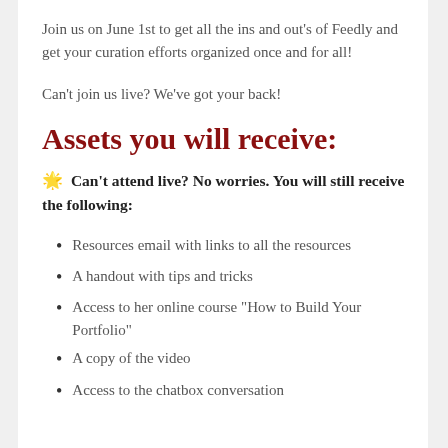Join us on June 1st to get all the ins and out's of Feedly and get your curation efforts organized once and for all!
Can't join us live? We've got your back!
Assets you will receive:
🌟 Can't attend live? No worries. You will still receive the following:
Resources email with links to all the resources
A handout with tips and tricks
Access to her online course "How to Build Your Portfolio"
A copy of the video
Access to the chatbox conversation